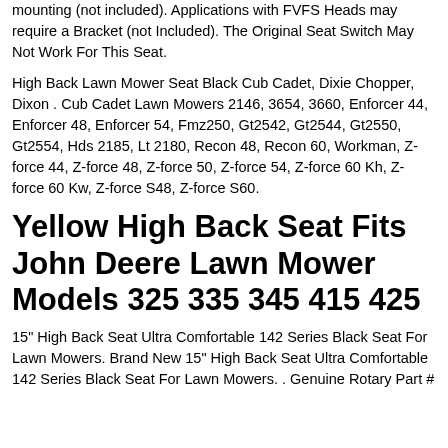mounting (not included). Applications with FVFS Heads may require a Bracket (not Included). The Original Seat Switch May Not Work For This Seat.
High Back Lawn Mower Seat Black Cub Cadet, Dixie Chopper, Dixon . Cub Cadet Lawn Mowers 2146, 3654, 3660, Enforcer 44, Enforcer 48, Enforcer 54, Fmz250, Gt2542, Gt2544, Gt2550, Gt2554, Hds 2185, Lt 2180, Recon 48, Recon 60, Workman, Z-force 44, Z-force 48, Z-force 50, Z-force 54, Z-force 60 Kh, Z-force 60 Kw, Z-force S48, Z-force S60.
Yellow High Back Seat Fits John Deere Lawn Mower Models 325 335 345 415 425
15" High Back Seat Ultra Comfortable 142 Series Black Seat For Lawn Mowers. Brand New 15" High Back Seat Ultra Comfortable 142 Series Black Seat For Lawn Mowers. . Genuine Rotary Part #...